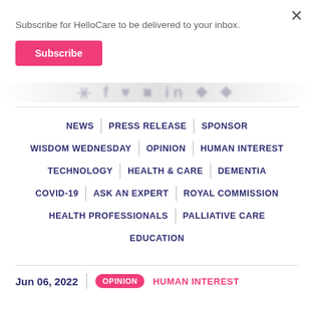Subscribe for HelloCare to be delivered to your inbox.
Subscribe
NEWS | PRESS RELEASE | SPONSOR
WISDOM WEDNESDAY | OPINION | HUMAN INTEREST
TECHNOLOGY | HEALTH & CARE | DEMENTIA
COVID-19 | ASK AN EXPERT | ROYAL COMMISSION
HEALTH PROFESSIONALS | PALLIATIVE CARE
EDUCATION
Jun 06, 2022  |  OPINION  HUMAN INTEREST